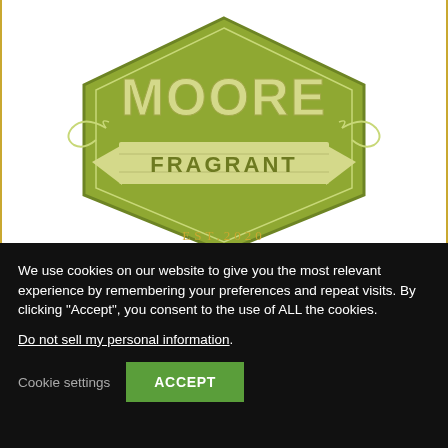[Figure (logo): Moore Fragrant logo — olive green hexagonal badge with 'MOORE' in large letters, 'FRAGRANT' on a banner/ribbon across the middle, and 'EST. 2020' in gold text below]
Moore Fragrant Candles & Wa...
We use cookies on our website to give you the most relevant experience by remembering your preferences and repeat visits. By clicking “Accept”, you consent to the use of ALL the cookies.
Do not sell my personal information.
Cookie settings   ACCEPT